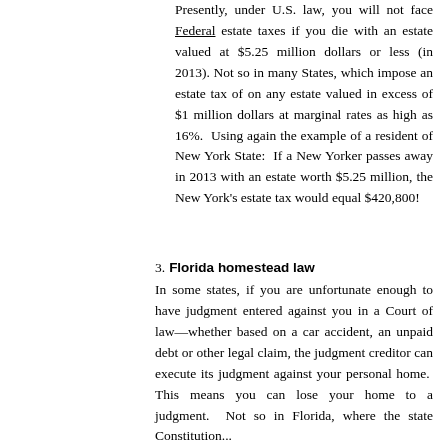Presently, under U.S. law, you will not face Federal estate taxes if you die with an estate valued at $5.25 million dollars or less (in 2013). Not so in many States, which impose an estate tax of on any estate valued in excess of $1 million dollars at marginal rates as high as 16%. Using again the example of a resident of New York State: If a New Yorker passes away in 2013 with an estate worth $5.25 million, the New York's estate tax would equal $420,800!
3. Florida homestead law
In some states, if you are unfortunate enough to have judgment entered against you in a Court of law—whether based on a car accident, an unpaid debt or other legal claim, the judgment creditor can execute its judgment against your personal home. This means you can lose your home to a judgment. Not so in Florida, where the state Constitution...